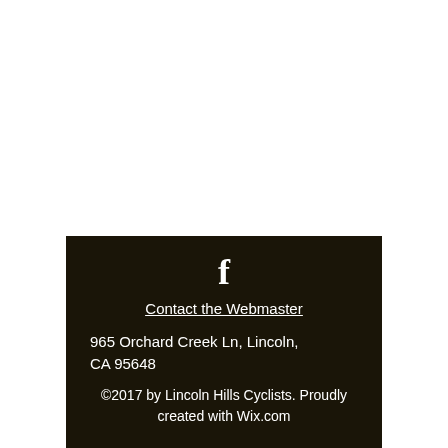[Figure (logo): Facebook 'f' logo icon in white on dark background]
Contact the Webmaster
965 Orchard Creek Ln, Lincoln, CA 95648
©2017 by Lincoln Hills Cyclists. Proudly created with Wix.com